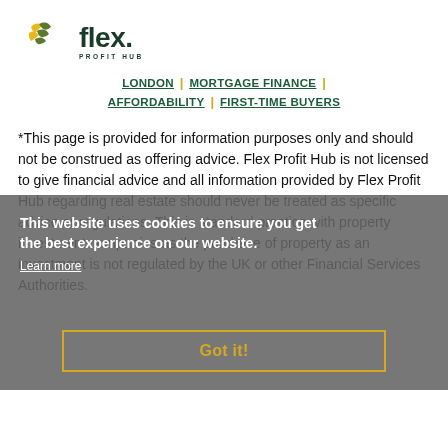[Figure (logo): Flex Profit Hub logo with yellow/green bird icon and dark green 'flex.' wordmark with 'PROFIT HUB' subtitle]
LONDON | MORTGAGE FINANCE | AFFORDABILITY | FIRST-TIME BUYERS
*This page is provided for information purposes only and should not be construed as offering advice. Flex Profit Hub is not licensed to give financial advice and all information provided by Flex Profit Hub regarding real estate should never be treated as specific advice or regulations. This is standard practice with property investment companies as the purchase of property as an investment is not regulated by the UK or other Financial Services Authorities.
This website uses cookies to ensure you get the best experience on our website.
Learn more
Got it!